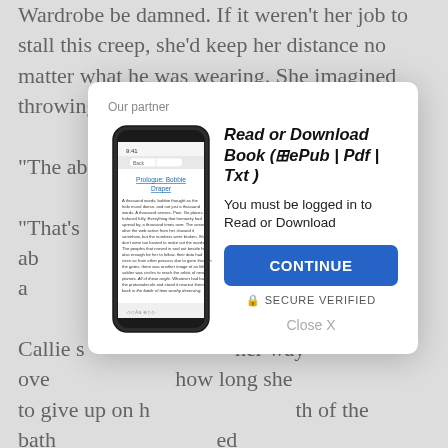Wardrobe be damned. If it weren't her job to stall this creep, she'd keep her distance no matter what he was wearing. She imagined throwing her drink in his face and smiled.
"The ab...
"That's ... one thing ab... her gag reflex, a... a minute.
Callie s... her way ove... how long she... to give up on h... th of the bath... ed concret... the stupid throbbing lights, the cold, industrial aesthetic, the terrible, dead-eyed women and men obsessed with showing off their newfound wealth and status. Soon
[Figure (screenshot): A modal dialog overlay on a book reading page. Shows 'Our partner' label, a smartphone image displaying a book page, bold italic title 'Read or Download Book (⊞ePub | Pdf | Txt)', text 'You must be logged in to Read or Download', a blue CONTINUE button, a SECURE VERIFIED label with lock icon, and a 'Close X' dismiss link.]